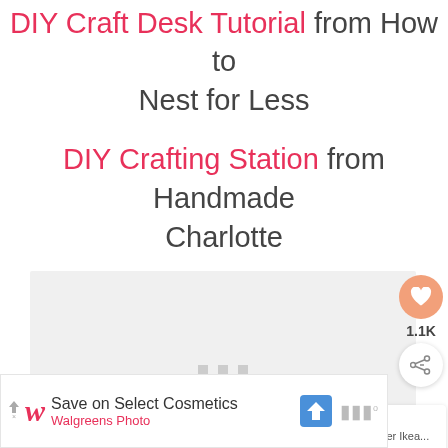DIY Craft Desk Tutorial from How to Nest for Less
DIY Crafting Station from Handmade Charlotte
[Figure (screenshot): Placeholder image box with three small grey squares in the center, representing a loading or empty image area]
[Figure (screenshot): Social interaction buttons: heart/like button (salmon/orange circle with heart icon), count showing 1.1K, and share button (white circle with share icon)]
[Figure (screenshot): What's Next panel showing a thumbnail image and text: WHAT'S NEXT → 15 Cool and Clever Ikea...]
[Figure (screenshot): Advertisement banner: Walgreens logo, Save on Select Cosmetics, Walgreens Photo, navigation arrow icon, and brand dots logo]